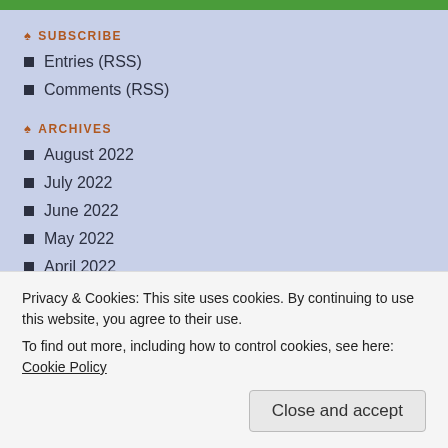SUBSCRIBE
Entries (RSS)
Comments (RSS)
ARCHIVES
August 2022
July 2022
June 2022
May 2022
April 2022
March 2022
Privacy & Cookies: This site uses cookies. By continuing to use this website, you agree to their use.
To find out more, including how to control cookies, see here: Cookie Policy
Close and accept